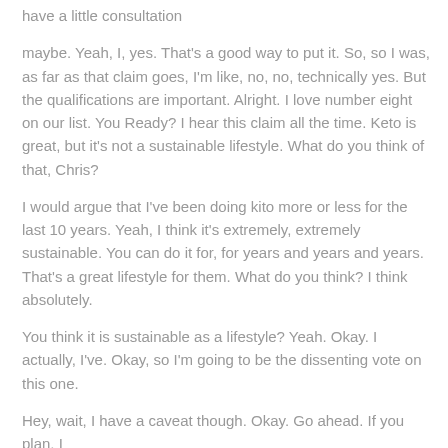have a little consultation
maybe. Yeah, I, yes. That's a good way to put it. So, so I was, as far as that claim goes, I'm like, no, no, technically yes. But the qualifications are important. Alright. I love number eight on our list. You Ready? I hear this claim all the time. Keto is great, but it's not a sustainable lifestyle. What do you think of that, Chris?
I would argue that I've been doing kito more or less for the last 10 years. Yeah, I think it's extremely, extremely sustainable. You can do it for, for years and years and years. That's a great lifestyle for them. What do you think? I think absolutely.
You think it is sustainable as a lifestyle? Yeah. Okay. I actually, I've. Okay, so I'm going to be the dissenting vote on this one.
Hey, wait, I have a caveat though. Okay. Go ahead. If you plan, I